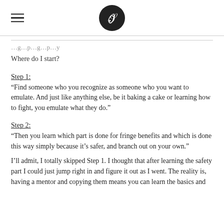[logo and hamburger menu]
…g…p…g…p…y
Where do I start?
Step 1:
“Find someone who you recognize as someone who you want to emulate. And just like anything else, be it baking a cake or learning how to fight, you emulate what they do.”
Step 2:
“Then you learn which part is done for fringe benefits and which is done this way simply because it’s safer, and branch out on your own.”
I’ll admit, I totally skipped Step 1. I thought that after learning the safety part I could just jump right in and figure it out as I went. The reality is, having a mentor and copying them means you can learn the basics and